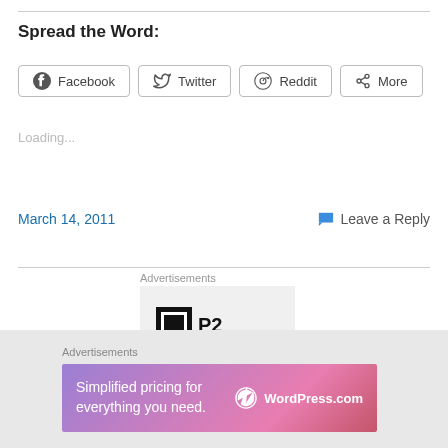Spread the Word:
[Figure (other): Social share buttons: Facebook, Twitter, Reddit, More]
Loading...
March 14, 2011
Leave a Reply
Advertisements
[Figure (logo): P2 logo on gray background]
Advertisements
[Figure (infographic): WordPress.com banner ad: Simplified pricing for everything you need.]